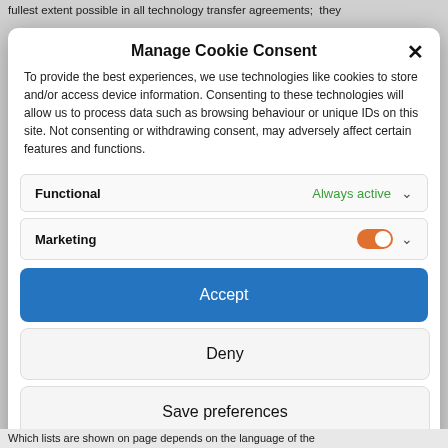fullest extent possible in all technology transfer agreements;  they
Manage Cookie Consent
To provide the best experiences, we use technologies like cookies to store and/or access device information. Consenting to these technologies will allow us to process data such as browsing behaviour or unique IDs on this site. Not consenting or withdrawing consent, may adversely affect certain features and functions.
Functional
Always active
Marketing
Accept
Deny
Save preferences
Cookie Policy
Which lists are shown on page depends on the language of the